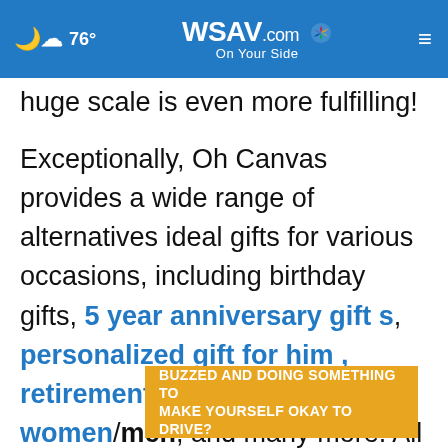76° | WSAV.com On Your Side
huge scale is even more fulfilling!
Exceptionally, Oh Canvas provides a wide range of alternatives ideal gifts for various occasions, including birthday gifts, 5 year anniversary gifts, personalized gift for him , retirement gifts for women/men, and many more. All you need to do is investigate the recipient to choose the information to add in the canvas. Knowing their personality, likes, dislikes, and preferences, for example they'll like.
BUZZED AND DOING SOMETHING TO MAKE YOURSELF OKAY TO DRIVE?